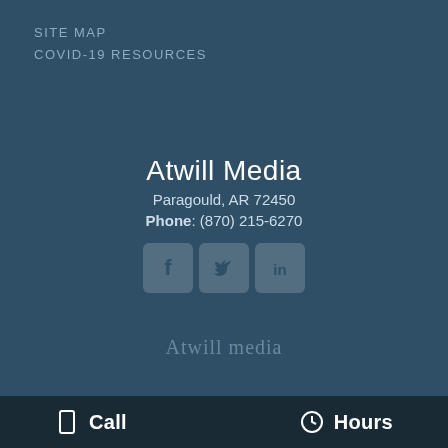SITE MAP
COVID-19 RESOURCES
Atwill Media
Paragould, AR 72450
Phone: (870) 215-6270
[Figure (logo): Social media icons: Facebook, Twitter, LinkedIn]
[Figure (logo): Atwill Media handwritten script logo]
Copyright © 2019-2022 Atwill Media · Atwill Media All Rights Reserved
Call | Hours